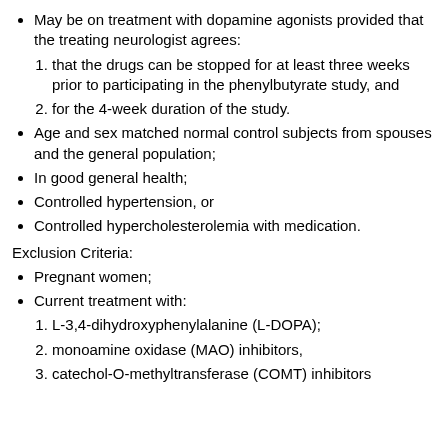May be on treatment with dopamine agonists provided that the treating neurologist agrees:
1. that the drugs can be stopped for at least three weeks prior to participating in the phenylbutyrate study, and
2. for the 4-week duration of the study.
Age and sex matched normal control subjects from spouses and the general population;
In good general health;
Controlled hypertension, or
Controlled hypercholesterolemia with medication.
Exclusion Criteria:
Pregnant women;
Current treatment with:
1. L-3,4-dihydroxyphenylalanine (L-DOPA);
2. monoamine oxidase (MAO) inhibitors,
3. catechol-O-methyltransferase (COMT) inhibitors